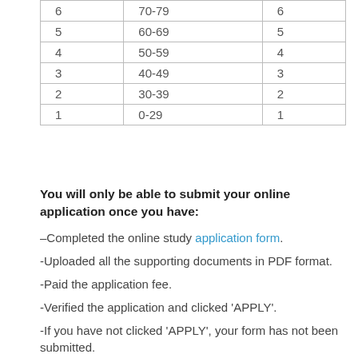| 6 | 70-79 | 6 |
| 5 | 60-69 | 5 |
| 4 | 50-59 | 4 |
| 3 | 40-49 | 3 |
| 2 | 30-39 | 2 |
| 1 | 0-29 | 1 |
You will only be able to submit your online application once you have:
–Completed the online study application form.
-Uploaded all the supporting documents in PDF format.
-Paid the application fee.
-Verified the application and clicked 'APPLY'.
-If you have not clicked 'APPLY', your form has not been submitted.